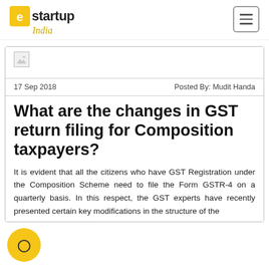estartup India
[Figure (screenshot): Broken image placeholder thumbnail in article card]
17 Sep 2018    Posted By: Mudit Handa
What are the changes in GST return filing for Composition taxpayers?
It is evident that all the citizens who have GST Registration under the Composition Scheme need to file the Form GSTR-4 on a quarterly basis. In this respect, the GST experts have recently presented certain key modifications in the structure of the